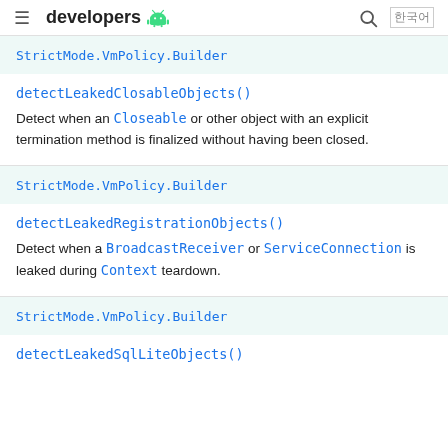developers [android logo]
StrictMode.VmPolicy.Builder
detectLeakedClosableObjects()
Detect when an Closeable or other object with an explicit termination method is finalized without having been closed.
StrictMode.VmPolicy.Builder
detectLeakedRegistrationObjects()
Detect when a BroadcastReceiver or ServiceConnection is leaked during Context teardown.
StrictMode.VmPolicy.Builder
detectLeakedSqlLiteObjects()